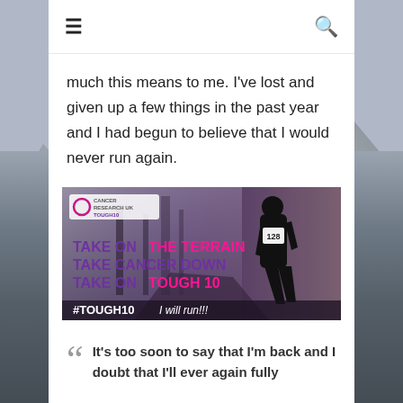≡  🔍
much this means to me. I've lost and given up a few things in the past year and I had begun to believe that I would never run again.
[Figure (illustration): Cancer Research UK Tough10 promotional banner. Shows a runner with bib number 128 in a forest/trail setting. Text reads: TAKE ON THE TERRAIN / TAKE CANCER DOWN / TAKE ON TOUGH 10 / #TOUGH10  I will run!!!]
“It's too soon to say that I'm back and I doubt that I'll ever again fully